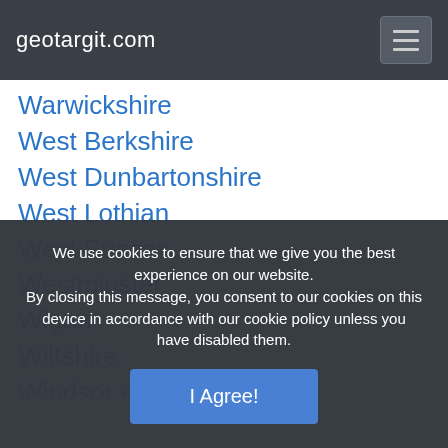geotargit.com
Warwickshire
West Berkshire
West Dunbartonshire
West Lothian
West Sussex
Westminster
Wigan
Wiltshire
Windsor and Maidenhead (partially visible)
We use cookies to ensure that we give you the best experience on our website. By closing this message, you consent to our cookies on this device in accordance with our cookie policy unless you have disabled them.
I Agree!